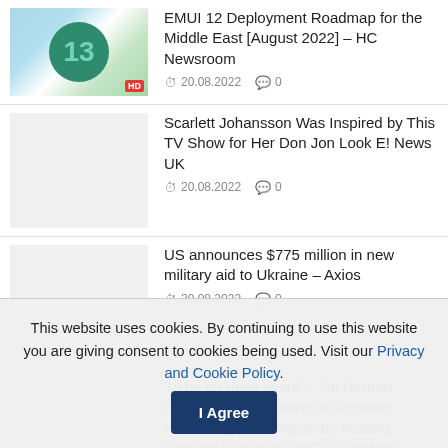[Figure (screenshot): Thumbnail image with number 13 icon on a teal/green checkered background with HD badge]
EMUI 12 Deployment Roadmap for the Middle East [August 2022] – HC Newsroom
20.08.2022  0
[Figure (photo): Blank light gray thumbnail]
Scarlett Johansson Was Inspired by This TV Show for Her Don Jon Look E! News UK
20.08.2022  0
[Figure (photo): Blank light gray thumbnail]
US announces $775 million in new military aid to Ukraine – Axios
20.08.2022  0
[Figure (photo): Blank light gray thumbnail]
'I'll be co-main event' – Jai Herbert expects Leon Edwards to become welterweight champion by beating Kamaru Usman at UFC 278 before bringing MMA back to Birmingham
This website uses cookies. By continuing to use this website you are giving consent to cookies being used. Visit our Privacy and Cookie Policy. I Agree